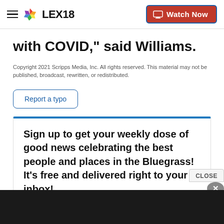LEX18 — Watch Now
with COVID," said Williams.
Copyright 2021 Scripps Media, Inc. All rights reserved. This material may not be published, broadcast, rewritten, or redistributed.
Report a typo
Sign up to get your weekly dose of good news celebrating the best people and places in the Bluegrass! It's free and delivered right to your inbox!
CLOSE